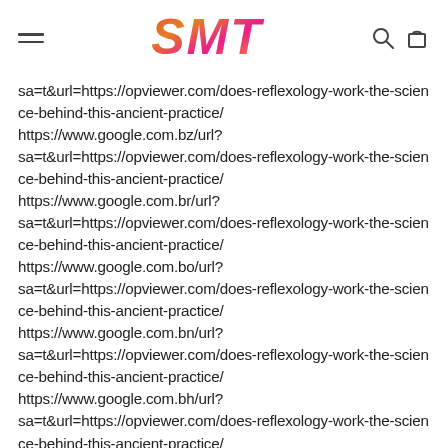SMT
sa=t&url=https://opviewer.com/does-reflexology-work-the-science-behind-this-ancient-practice/ https://www.google.com.bz/url? sa=t&url=https://opviewer.com/does-reflexology-work-the-science-behind-this-ancient-practice/ https://www.google.com.br/url? sa=t&url=https://opviewer.com/does-reflexology-work-the-science-behind-this-ancient-practice/ https://www.google.com.bo/url? sa=t&url=https://opviewer.com/does-reflexology-work-the-science-behind-this-ancient-practice/ https://www.google.com.bn/url? sa=t&url=https://opviewer.com/does-reflexology-work-the-science-behind-this-ancient-practice/ https://www.google.com.bh/url? sa=t&url=https://opviewer.com/does-reflexology-work-the-science-behind-this-ancient-practice/ https://www.google.com.bd/url?